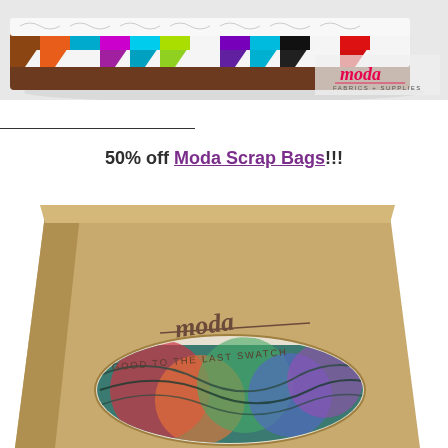[Figure (photo): Colorful folded quilting fabrics with rainbow geometric patterns, with Moda Fabrics + Supplies logo in bottom right corner]
50% off Moda Scrap Bags!!!
[Figure (photo): A kraft paper bag with Moda logo and text 'GOOD TO THE LAST SWATCH', with a window showing colorful fabric scraps inside]